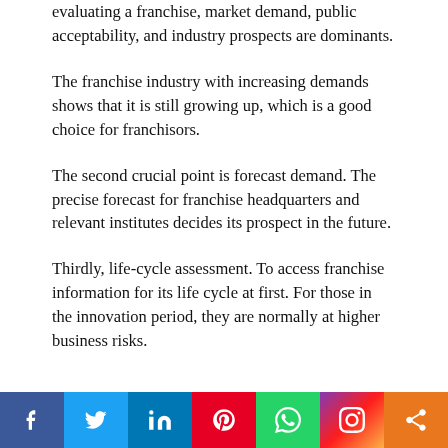evaluating a franchise, market demand, public acceptability, and industry prospects are dominants.
The franchise industry with increasing demands shows that it is still growing up, which is a good choice for franchisors.
The second crucial point is forecast demand. The precise forecast for franchise headquarters and relevant institutes decides its prospect in the future.
Thirdly, life-cycle assessment. To access franchise information for its life cycle at first. For those in the innovation period, they are normally at higher business risks.